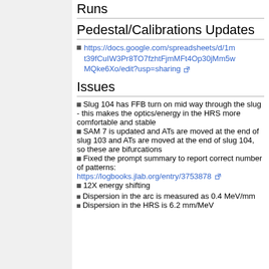Runs
Pedestal/Calibrations Updates
https://docs.google.com/spreadsheets/d/1mt39fCuIW3Pr8TO7fzhtFjmMFt4Op30jMm5wMQke6Xo/edit?usp=sharing
Issues
Slug 104 has FFB turn on mid way through the slug - this makes the optics/energy in the HRS more comfortable and stable
SAM 7 is updated and ATs are moved at the end of slug 103 and ATs are moved at the end of slug 104, so these are bifurcations
Fixed the prompt summary to report correct number of patterns: https://logbooks.jlab.org/entry/3753878
12X energy shifting
Dispersion in the arc is measured as 0.4 MeV/mm
Dispersion in the HRS is 6.2 mm/MeV